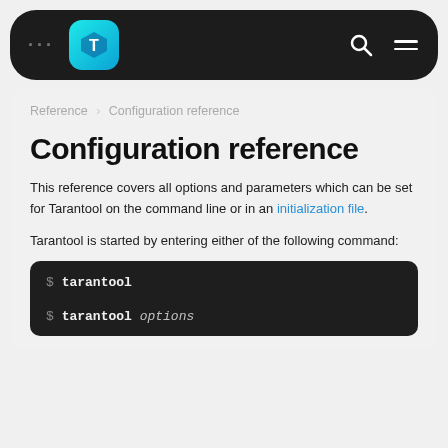... [Tarantool logo] ... [search] [menu]
Reference > Configuration reference
Configuration reference
This reference covers all options and parameters which can be set for Tarantool on the command line or in an initialization file.
Tarantool is started by entering either of the following command:
$ tarantool
$ tarantool options